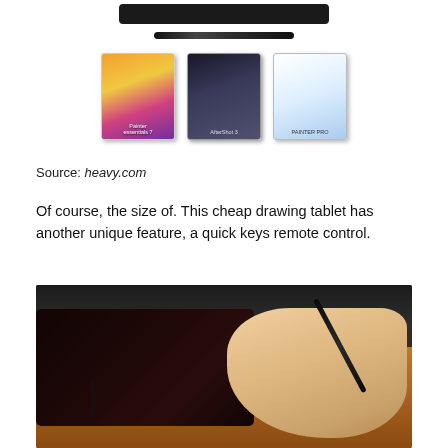[Figure (photo): Drawing tablet device shown from above with stylus pen, and three software box covers (Painter Essentials, AfterShot, and another Corel product)]
Source: heavy.com
Of course, the size of. This cheap drawing tablet has another unique feature, a quick keys remote control.
[Figure (photo): A hand holding a stylus pen on a black Wacom drawing tablet placed on a wooden table, with a dark monitor/background visible behind it]